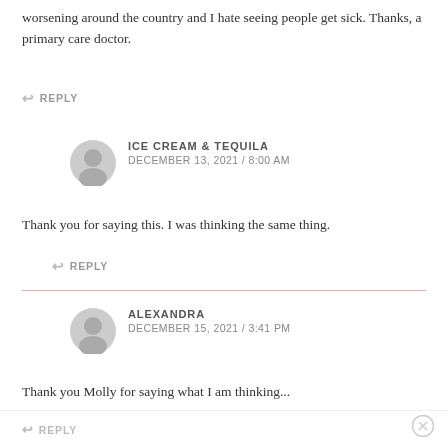worsening around the country and I hate seeing people get sick. Thanks, a primary care doctor.
↩ REPLY
ICE CREAM & TEQUILA
DECEMBER 13, 2021 / 8:00 AM
Thank you for saying this. I was thinking the same thing.
↩ REPLY
ALEXANDRA
DECEMBER 15, 2021 / 3:41 PM
Thank you Molly for saying what I am thinking...
↩ REPLY